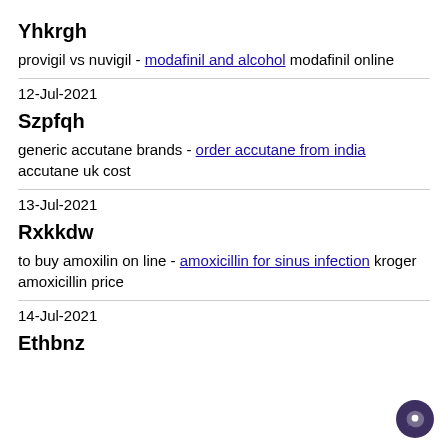Yhkrgh
provigil vs nuvigil - modafinil and alcohol modafinil online
12-Jul-2021
Szpfqh
generic accutane brands - order accutane from india accutane uk cost
13-Jul-2021
Rxkkdw
to buy amoxilin on line - amoxicillin for sinus infection kroger amoxicillin price
14-Jul-2021
Ethbnz